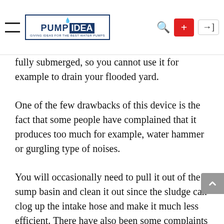[Figure (logo): Pump Idea website header with hamburger menu, logo, search icon, plus button, and login button]
fully submerged, so you cannot use it for example to drain your flooded yard.
One of the few drawbacks of this device is the fact that some people have complained that it produces too much for example, water hammer or gurgling type of noises.
You will occasionally need to pull it out of the sump basin and clean it out since the sludge can clog up the intake hose and make it much less efficient. There have also been some complaints about its efficiency dropping significantly just months after purchase or for example after using